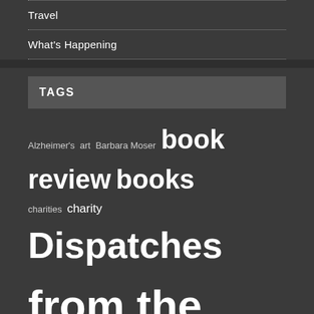Travel
What's Happening
TAGS
Alzheimer's art Barbara Moser book review books charities charity Dispatches from the COVID-19 pandemic editorial English events federal politics festivals Financial Fitness First Flavour Guy From the archives